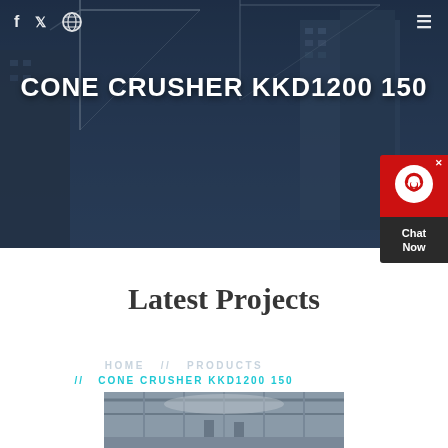[Figure (screenshot): Hero banner with dark blue construction site background showing cranes and buildings]
f  𝕏  ⊕  ☰
CONE CRUSHER KKD1200 150
HOME  //  PRODUCTS  //  CONE CRUSHER KKD1200 150
[Figure (screenshot): Chat Now widget with red top section showing headset icon and dark bottom section with Chat Now text]
Latest Projects
[Figure (photo): Construction or industrial warehouse interior image at bottom of page]